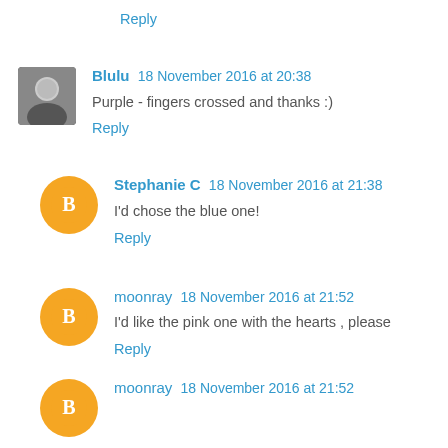Reply
Blulu 18 November 2016 at 20:38
Purple - fingers crossed and thanks :)
Reply
Stephanie C 18 November 2016 at 21:38
I'd chose the blue one!
Reply
moonray 18 November 2016 at 21:52
I'd like the pink one with the hearts , please
Reply
moonray 18 November 2016 at 21:52